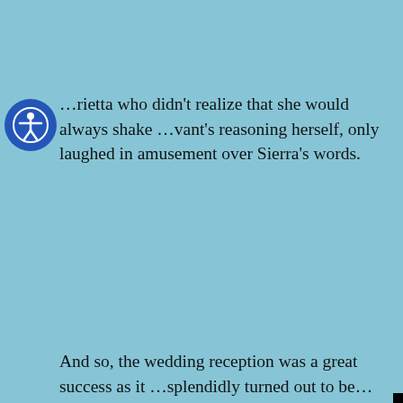…rietta who didn't realize that she would always shake …vant's reasoning herself, only laughed in amusement over Sierra's words.
[Figure (other): Round blue accessibility icon button (person with arms outstretched in circle), top-left overlay]
And so, the wedding reception was a great success as it …splendidly turned out to be… surrounding the bride and … time has eventually come f…
[Figure (other): Square blue accessibility wheelchair icon button, mid-left overlay]
[Figure (screenshot): Black video player popup overlay with white X close button in top-right corner and a circular loading spinner in the center]
We use cookies to ensure that we give you the best experience on our website. If you continue to use this site we will assume that you are happy with it.
[Figure (other): Advertisement banner: Google 'g' logo, Arlington OPEN 09:30 – 10:30, 125 South Old Glebe Road, Arli…, blue arrow icon]